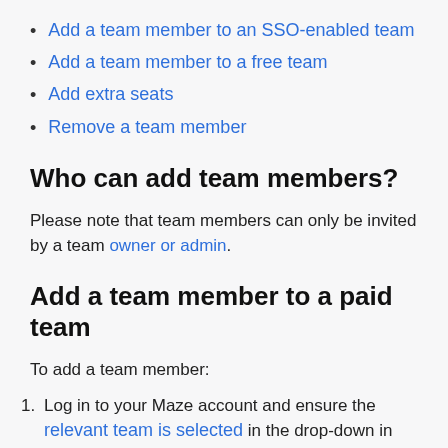Add a team member to an SSO-enabled team
Add a team member to a free team
Add extra seats
Remove a team member
Who can add team members?
Please note that team members can only be invited by a team owner or admin.
Add a team member to a paid team
To add a team member:
Log in to your Maze account and ensure the relevant team is selected in the drop-down in